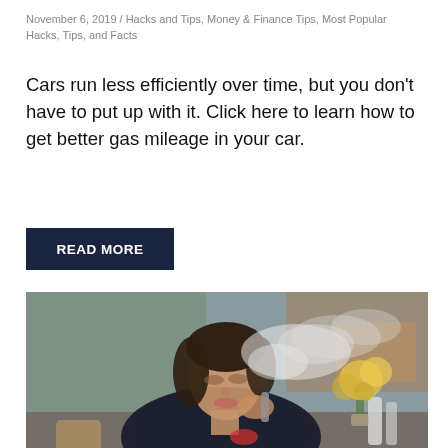November 6, 2019 / Hacks and Tips, Money & Finance Tips, Most Popular Hacks, Tips, and Facts
Cars run less efficiently over time, but you don't have to put up with it. Click here to learn how to get better gas mileage in your car.
READ MORE
[Figure (photo): A woman in a black leather jacket vaping or smoking an e-cigarette, exhaling a cloud of vapor, seated at an outdoor cafe with yellow flowers in the background.]